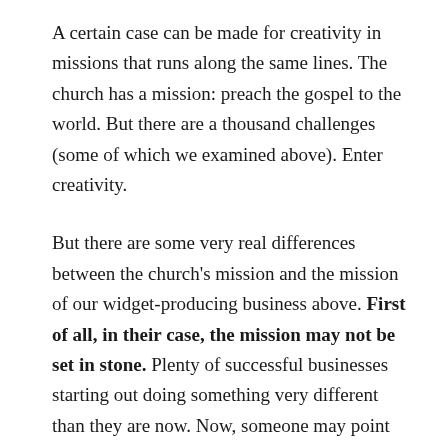A certain case can be made for creativity in missions that runs along the same lines. The church has a mission: preach the gospel to the world. But there are a thousand challenges (some of which we examined above). Enter creativity.
But there are some very real differences between the church's mission and the mission of our widget-producing business above. First of all, in their case, the mission may not be set in stone. Plenty of successful businesses starting out doing something very different than they are now. Now, someone may point out that their real goal was just to make money, so it didn't matter if they were selling cell phones or hockey pucks. But this